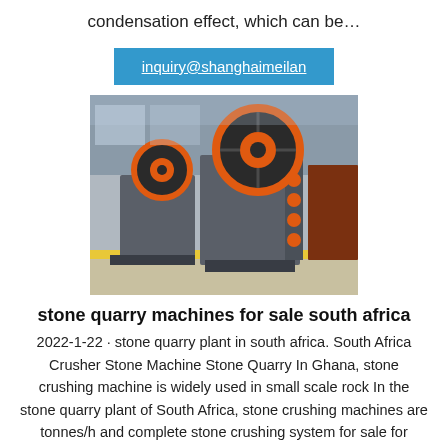condensation effect, which can be…
inquiry@shanghaimeilan
[Figure (photo): Industrial jaw crusher machine with large orange and black flywheel, displayed in a factory setting. Multiple crushing machines visible in the background.]
stone quarry machines for sale south africa
2022-1-22 · stone quarry plant in south africa. South Africa Crusher Stone Machine Stone Quarry In Ghana, stone crushing machine is widely used in small scale rock In the stone quarry plant of South Africa, stone crushing machines are tonnes/h and complete stone crushing system for sale for quarrying in India, Pakistan, Sri Lanka, Egy…